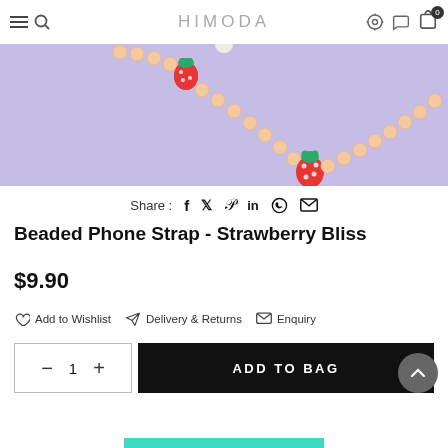HIMODA
[Figure (photo): Beaded phone strap with strawberry charms on a purple/lavender background]
Share : f t P in (whatsapp) (email)
Beaded Phone Strap - Strawberry Bliss
$9.90
♡ Add to Wishlist   ✈ Delivery & Returns   ✉ Enquiry
− 1 +   ADD TO BAG